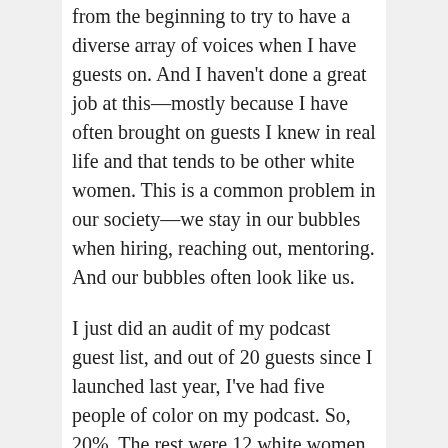from the beginning to try to have a diverse array of voices when I have guests on. And I haven't done a great job at this—mostly because I have often brought on guests I knew in real life and that tends to be other white women. This is a common problem in our society—we stay in our bubbles when hiring, reaching out, mentoring. And our bubbles often look like us.
I just did an audit of my podcast guest list, and out of 20 guests since I launched last year, I've had five people of color on my podcast. So, 20%. The rest were 12 white women and 3 white men. That's not good